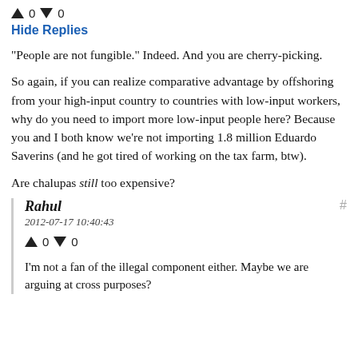[Figure (infographic): Vote arrows row: up arrow, 0, down arrow, 0]
Hide Replies
"People are not fungible." Indeed. And you are cherry-picking.

So again, if you can realize comparative advantage by offshoring from your high-input country to countries with low-input workers, why do you need to import more low-input people here? Because you and I both know we're not importing 1.8 million Eduardo Saverins (and he got tired of working on the tax farm, btw).

Are chalupas still too expensive?
Rahul
2012-07-17 10:40:43
[Figure (infographic): Vote arrows row: up arrow, 0, down arrow, 0]
I'm not a fan of the illegal component either. Maybe we are arguing at cross purposes?